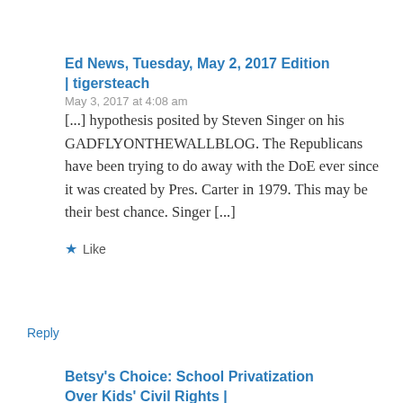Ed News, Tuesday, May 2, 2017 Edition | tigersteach
May 3, 2017 at 4:08 am
[...] hypothesis posited by Steven Singer on his GADFLYONTHEWALLBLOG.  The Republicans have been trying to do away with the DoE ever since it was created by Pres. Carter in 1979.  This may be their best chance.  Singer [...]
★ Like
Reply
Betsy's Choice: School Privatization Over Kids' Civil Rights |